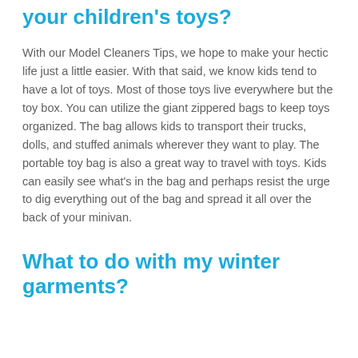your children's toys?
With our Model Cleaners Tips, we hope to make your hectic life just a little easier. With that said, we know kids tend to have a lot of toys. Most of those toys live everywhere but the toy box. You can utilize the giant zippered bags to keep toys organized. The bag allows kids to transport their trucks, dolls, and stuffed animals wherever they want to play. The portable toy bag is also a great way to travel with toys. Kids can easily see what's in the bag and perhaps resist the urge to dig everything out of the bag and spread it all over the back of your minivan.
What to do with my winter garments?